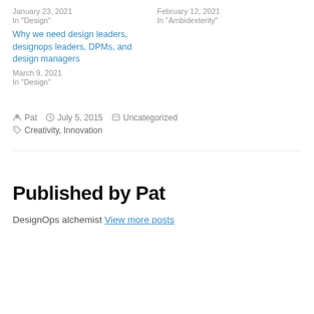January 23, 2021
In "Design"
February 12, 2021
In "Ambidexterity"
Why we need design leaders, designops leaders, DPMs, and design managers
March 9, 2021
In "Design"
Posted by Pat   July 5, 2015   Uncategorized   Creativity, Innovation
Published by Pat
DesignOps alchemist View more posts